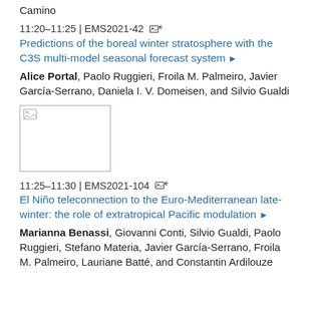Camino
11:20–11:25 | EMS2021-42
Predictions of the boreal winter stratosphere with the C3S multi-model seasonal forecast system
Alice Portal, Paolo Ruggieri, Froila M. Palmeiro, Javier García-Serrano, Daniela I. V. Domeisen, and Silvio Gualdi
[Figure (photo): Broken image placeholder thumbnail]
11:25–11:30 | EMS2021-104
El Niño teleconnection to the Euro-Mediterranean late-winter: the role of extratropical Pacific modulation
Marianna Benassi, Giovanni Conti, Silvio Gualdi, Paolo Ruggieri, Stefano Materia, Javier García-Serrano, Froila M. Palmeiro, Lauriane Batté, and Constantin Ardilouze